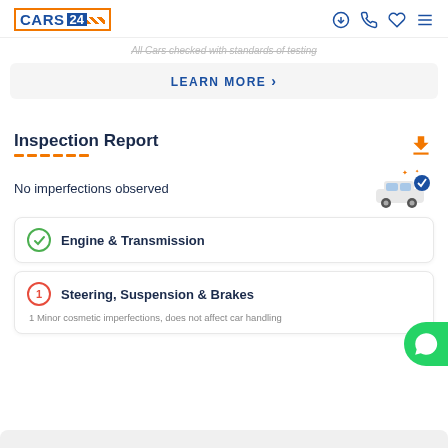CARS24
All Cars checked with standards of testing
LEARN MORE >
Inspection Report
No imperfections observed
Engine & Transmission
Steering, Suspension & Brakes
1 Minor cosmetic imperfections, does not affect car handling